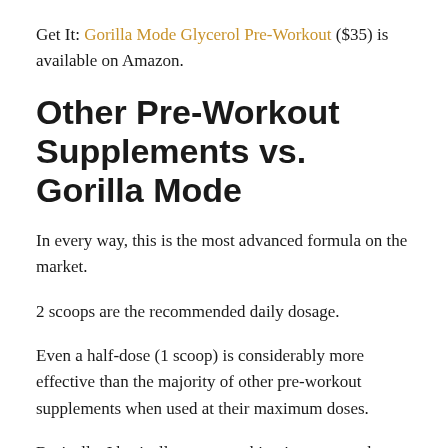Get It: Gorilla Mode Glycerol Pre-Workout ($35) is available on Amazon.
Other Pre-Workout Supplements vs. Gorilla Mode
In every way, this is the most advanced formula on the market.
2 scoops are the recommended daily dosage.
Even a half-dose (1 scoop) is considerably more effective than the majority of other pre-workout supplements when used at their maximum doses.
Basically, I basically put everything in a pre-workout that I would like to see, even if it meant sacrificing our